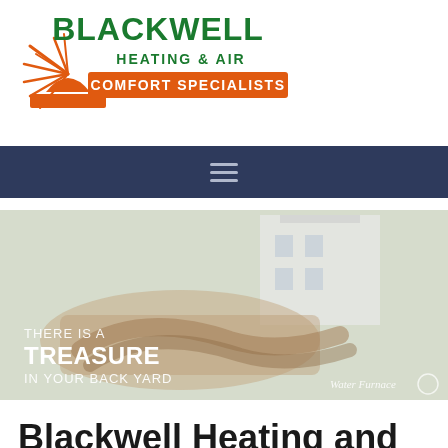[Figure (logo): Blackwell Heating & Air logo with orange sun/rays graphic, green arched text 'BLACKWELL HEATING & AIR' and orange banner 'COMFORT SPECIALISTS']
[Figure (screenshot): Dark navy navigation bar with hamburger menu icon (three horizontal lines)]
[Figure (photo): Hero image showing a handshake in front of a house with text overlay: 'THERE IS A TREASURE IN YOUR BACK YARD' and a Water Furnace logo in the bottom right]
Blackwell Heating and